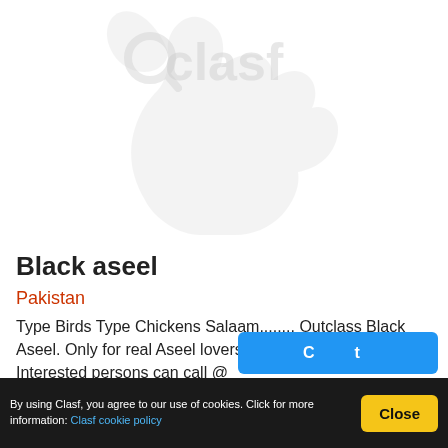[Figure (logo): Clasf marketplace placeholder image with dog silhouette watermark and Clasf logo text in light gray]
Black aseel
Pakistan
Type Birds Type Chickens Salaam........ Outclass Black Aseel. Only for real Aseel lovers. original pics attached Interested persons can call @
By using Clasf, you agree to our use of cookies. Click for more information: Clasf cookie policy